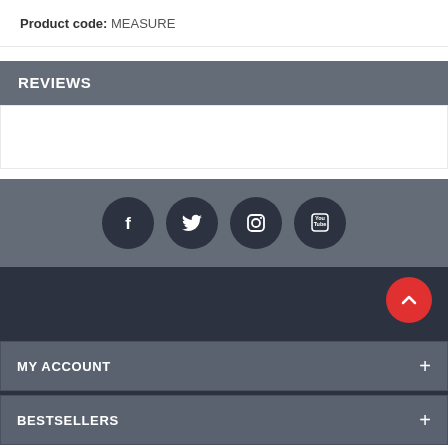Product code: MEASURE
REVIEWS
[Figure (other): Social media icons row: Facebook, Twitter, Instagram, YouTube — white icons on dark circular backgrounds, displayed on a grey band]
MY ACCOUNT +
BESTSELLERS +